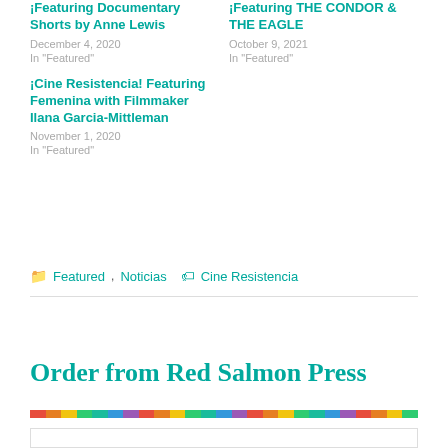¡Featuring Documentary Shorts by Anne Lewis
December 4, 2020
In "Featured"
¡Featuring THE CONDOR & THE EAGLE
October 9, 2021
In "Featured"
¡Cine Resistencia! Featuring Femenina with Filmmaker Ilana Garcia-Mittleman
November 1, 2020
In "Featured"
Featured, Noticias   Cine Resistencia
Order from Red Salmon Press